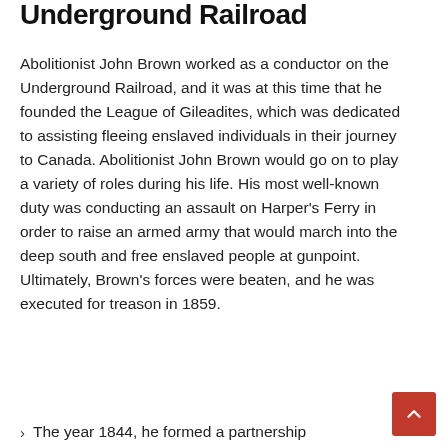Underground Railroad
Abolitionist John Brown worked as a conductor on the Underground Railroad, and it was at this time that he founded the League of Gileadites, which was dedicated to assisting fleeing enslaved individuals in their journey to Canada. Abolitionist John Brown would go on to play a variety of roles during his life. His most well-known duty was conducting an assault on Harper's Ferry in order to raise an armed army that would march into the deep south and free enslaved people at gunpoint. Ultimately, Brown's forces were beaten, and he was executed for treason in 1859.
The year 1844, he formed a partnership